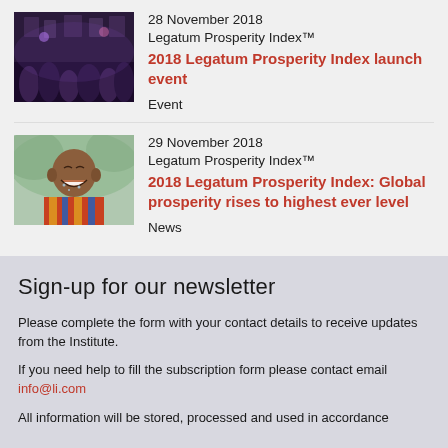28 November 2018
Legatum Prosperity Index™
2018 Legatum Prosperity Index launch event
Event
[Figure (photo): Event photo showing a crowd of people at a formal event venue with purple/blue lighting]
29 November 2018
Legatum Prosperity Index™
2018 Legatum Prosperity Index: Global prosperity rises to highest ever level
News
[Figure (photo): Photo of a smiling African child wearing a colorful patterned garment]
Sign-up for our newsletter
Please complete the form with your contact details to receive updates from the Institute.
If you need help to fill the subscription form please contact email info@li.com
All information will be stored, processed and used in accordance